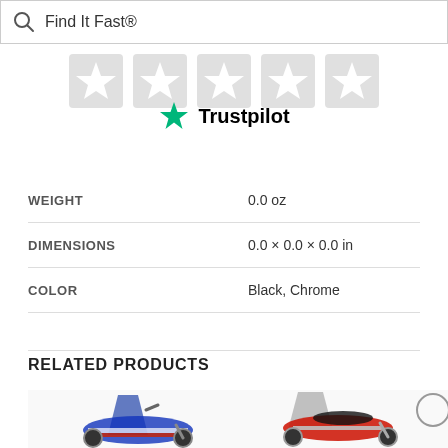Find It Fast®
[Figure (other): Five gray star rating icons in a row (Trustpilot rating stars, all gray/unfilled)]
[Figure (logo): Trustpilot logo with green star and bold text 'Trustpilot']
| Attribute | Value |
| --- | --- |
| WEIGHT | 0.0 oz |
| DIMENSIONS | 0.0 × 0.0 × 0.0 in |
| COLOR | Black, Chrome |
RELATED PRODUCTS
[Figure (photo): Two partial motorcycle product images at the bottom of the page]